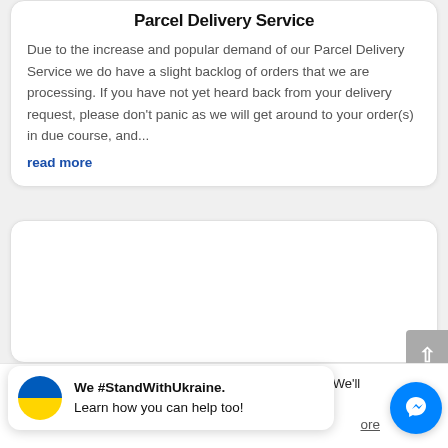Parcel Delivery Service
Due to the increase and popular demand of our Parcel Delivery Service we do have a slight backlog of orders that we are processing. If you have not yet heard back from your delivery request, please don't panic as we will get around to your order(s) in due course, and...
read more
[Figure (other): Empty white card placeholder]
This website uses cookies to improve your experience. We'll
We #StandWithUkraine. Learn how you can help too!
n opt-out if y
ore
[Figure (logo): Ukraine flag circle icon (blue top half, yellow bottom half)]
[Figure (logo): Facebook Messenger blue circle button with white lightning bolt icon]